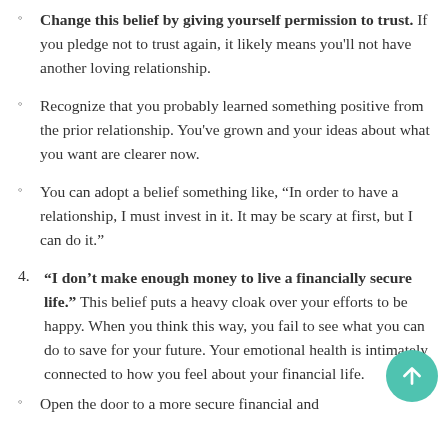Change this belief by giving yourself permission to trust. If you pledge not to trust again, it likely means you'll not have another loving relationship.
Recognize that you probably learned something positive from the prior relationship. You've grown and your ideas about what you want are clearer now.
You can adopt a belief something like, “In order to have a relationship, I must invest in it. It may be scary at first, but I can do it.”
4. “I don’t make enough money to live a financially secure life.” This belief puts a heavy cloak over your efforts to be happy. When you think this way, you fail to see what you can do to save for your future. Your emotional health is intimately connected to how you feel about your financial life.
Open the door to a more secure financial and